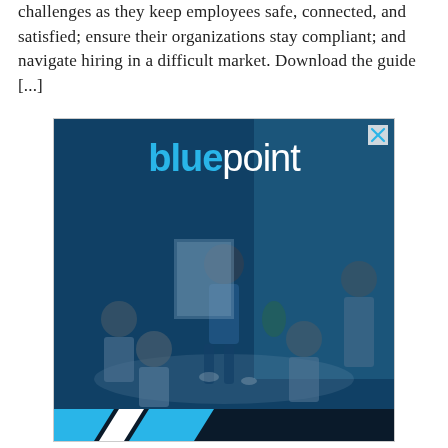challenges as they keep employees safe, connected, and satisfied; ensure their organizations stay compliant; and navigate hiring in a difficult market. Download the guide [...]
[Figure (photo): Bluepoint advertisement banner showing a business meeting scene with blue tint overlay. A woman with natural hair stands presenting at a whiteboard to colleagues seated around a table in a modern office. The Bluepoint logo appears at the top with 'blue' in cyan and 'point' in white. An X close button appears in the top-right corner. Blue and white diagonal stripe bar at bottom.]